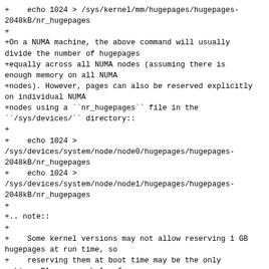+    echo 1024 > /sys/kernel/mm/hugepages/hugepages-2048kB/nr_hugepages
+
+On a NUMA machine, the above command will usually divide the number of hugepages
+equally across all NUMA nodes (assuming there is enough memory on all NUMA
+nodes). However, pages can also be reserved explicitly on individual NUMA
+nodes using a ``nr_hugepages`` file in the ``/sys/devices/`` directory::
+
+    echo 1024 >
/sys/devices/system/node/node0/hugepages/hugepages-2048kB/nr_hugepages
+    echo 1024 >
/sys/devices/system/node/node1/hugepages/hugepages-2048kB/nr_hugepages
+
+.. note::
+
+    Some kernel versions may not allow reserving 1 GB hugepages at run time, so
+    reserving them at boot time may be the only option. Please see below for
+    instructions.
+
+**Alternative:**
+
+In the general case, reserving hugepages at run time